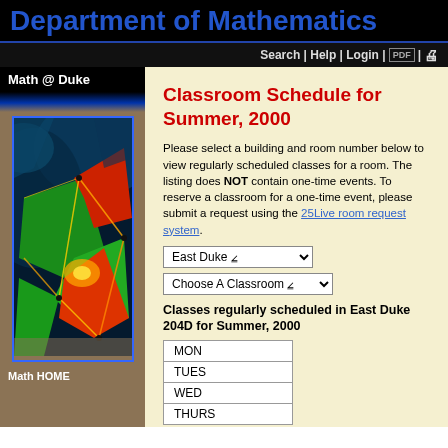Department of Mathematics
Search | Help | Login |
Math @ Duke
[Figure (illustration): Colorful fractal/Voronoi diagram artwork with red, green, blue, and orange regions on dark background]
Classroom Schedule for Summer, 2000
Please select a building and room number below to view regularly scheduled classes for a room. The listing does NOT contain one-time events. To reserve a classroom for a one-time event, please submit a request using the 25Live room request system.
East Duke [dropdown]
Choose A Classroom [dropdown]
Classes regularly scheduled in East Duke 204D for Summer, 2000
| MON |
| TUES |
| WED |
| THURS |